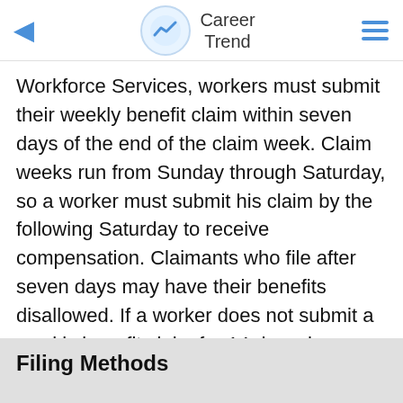Career Trend
Workforce Services, workers must submit their weekly benefit claim within seven days of the end of the claim week. Claim weeks run from Sunday through Saturday, so a worker must submit his claim by the following Saturday to receive compensation. Claimants who file after seven days may have their benefits disallowed. If a worker does not submit a weekly benefit claim for 14 days, he becomes ineligible to file by telephone and must reactivate his benefits in person at a local workforce department office.
Filing Methods